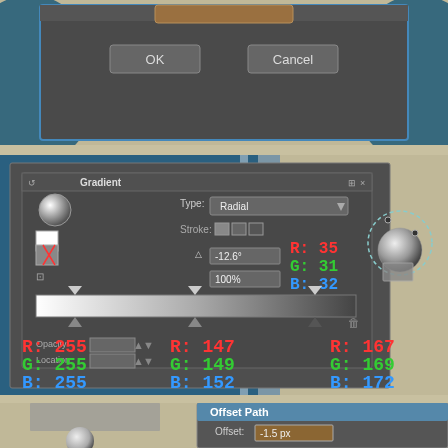[Figure (screenshot): Adobe Illustrator dialog box with OK and Cancel buttons on a dark background with circular decorative elements]
[Figure (screenshot): Adobe Illustrator Gradient panel showing Radial type gradient with RGB color values annotated: active stop R:35 G:31 B:32; left stop R:255 G:255 B:255; middle stop R:147 G:149 B:152; right stop R:167 G:169 B:172. A sphere object with dashed selection circle is visible on the right.]
[Figure (screenshot): Adobe Illustrator Offset Path dialog showing Offset: -1.5 px, Joins: Miter, Miter limit: 4]